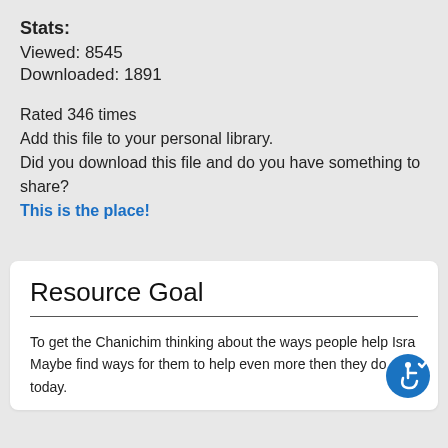Stats:
Viewed: 8545
Downloaded: 1891
Rated 346 times
Add this file to your personal library.
Did you download this file and do you have something to share?
This is the place!
Resource Goal
To get the Chanichim thinking about the ways people help Isra…
Maybe find ways for them to help even more then they do today.